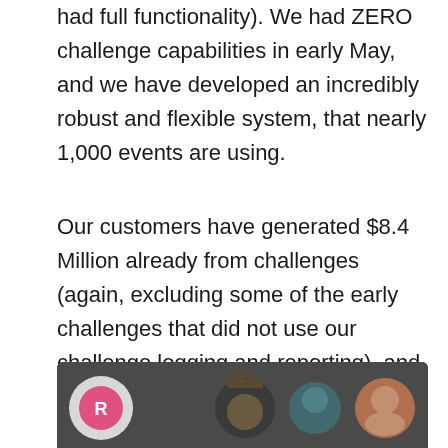had full functionality). We had ZERO challenge capabilities in early May, and we have developed an incredibly robust and flexible system, that nearly 1,000 events are using.
Our customers have generated $8.4 Million already from challenges (again, excluding some of the early challenges that did not use our challenge logging and reporting), and we think we are only scratching the surface. An increasing number of nonprofits are beginning to use the platform in creative ways to engage their supporters. We will begin a campaign to reach out to more of them in mid August. The video below was prepared as part of that campaign:
[Figure (screenshot): Partial video thumbnail showing avatars/profile icons of participants on a dark background]